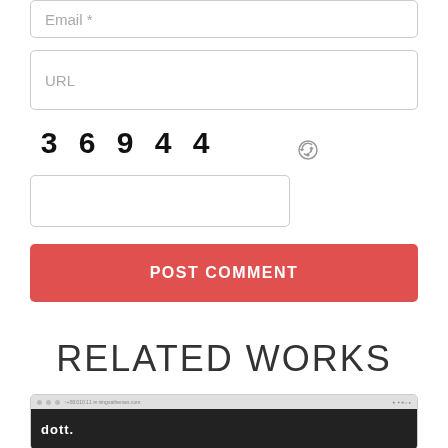Email *
URL
3  6  9  4  4
[Figure (other): CAPTCHA input field with refresh icon]
POST COMMENT
RELATED WORKS
[Figure (screenshot): Screenshot of dott website with dark navigation bar]